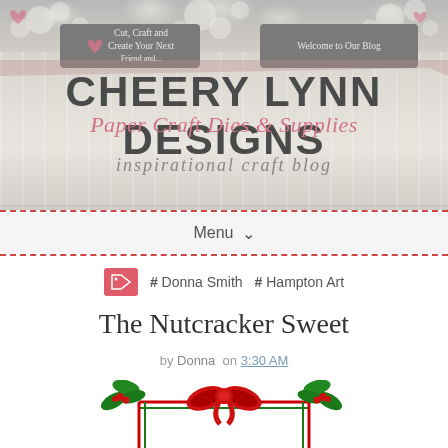[Figure (screenshot): Cheery Lynn Designs website banner with woodgrain background, floral decoration at top, navigation signs, logo text, pink script subtitle 'Paper Craft Dies & Supplies', and gray script 'inspirational craft blog']
Cut, Craft and Create Your Next | Welcome to Our Blog
CHEERY LYNN DESIGNS
Paper Craft Dies & Supplies
inspirational craft blog
Menu
# Donna Smith  # Hampton Art
The Nutcracker Sweet
by Donna  on  3:30 AM
[Figure (logo): Hampton Art logo with holly and bow frame: red bow at top center, green holly leaves and red berries at four corners, red and green vertical/horizontal border lines, circular Hampton Art logo mark in center with stylized H, text 'hampton art.' below logo]